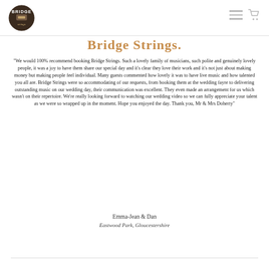Bridge Strings — navigation header with logo and menu/cart icons
Bridge Strings.
"We would 100% recommend booking Bridge Strings. Such a lovely family of musicians, such polite and genuinely lovely people, it was a joy to have them share our special day and it's clear they love their work and it's not just about making money but making people feel individual. Many guests commented how lovely it was to have live music and how talented you all are. Bridge Strings were so accommodating of our requests, from booking them at the wedding fayre to delivering outstanding music on our wedding day, their communication was excellent. They even made an arrangement for us which wasn't on their repertoire. We're really looking forward to watching our wedding video so we can fully appreciate your talent as we were so wrapped up in the moment. Hope you enjoyed the day. Thank you, Mr & Mrs Doherty"
Emma-Jean & Dan
Eastwood Park, Gloucestershire